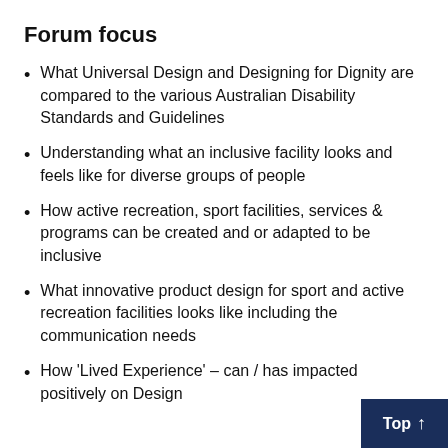Forum focus
What Universal Design and Designing for Dignity are compared to the various Australian Disability Standards and Guidelines
Understanding what an inclusive facility looks and feels like for diverse groups of people
How active recreation, sport facilities, services & programs can be created and or adapted to be inclusive
What innovative product design for sport and active recreation facilities looks like including the communication needs
How 'Lived Experience' – can / has impacted positively on Design